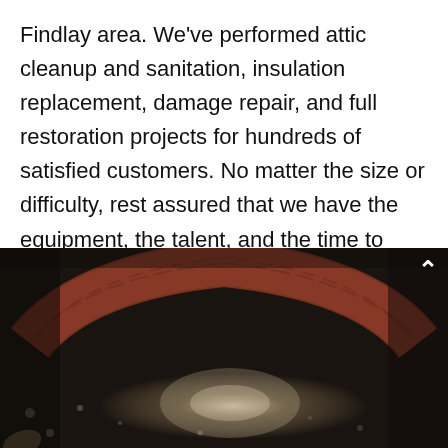Findlay area. We've performed attic cleanup and sanitation, insulation replacement, damage repair, and full restoration projects for hundreds of satisfied customers. No matter the size or difficulty, rest assured that we have the equipment, the talent, and the time to handle your attic cleanup job!
[Figure (photo): Dark photograph of an attic interior showing a curved brick arch structure at the top and a dark floor covered with debris and insulation material below, partially illuminated by a light source in the center.]